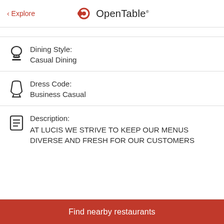< Explore   OpenTable
Dining Style: Casual Dining
Dress Code: Business Casual
Description: AT LUCIS WE STRIVE TO KEEP OUR MENUS DIVERSE AND FRESH FOR OUR CUSTOMERS
Find nearby restaurants